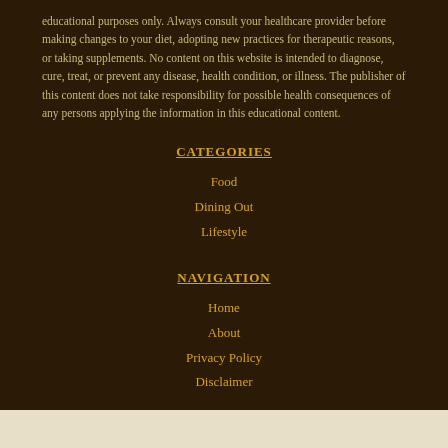educational purposes only. Always consult your healthcare provider before making changes to your diet, adopting new practices for therapeutic reasons, or taking supplements. No content on this website is intended to diagnose, cure, treat, or prevent any disease, health condition, or illness. The publisher of this content does not take responsibility for possible health consequences of any persons applying the information in this educational content.
CATEGORIES
Food
Dining Out
Lifestyle
NAVIGATION
Home
About
Privacy Policy
Disclaimer